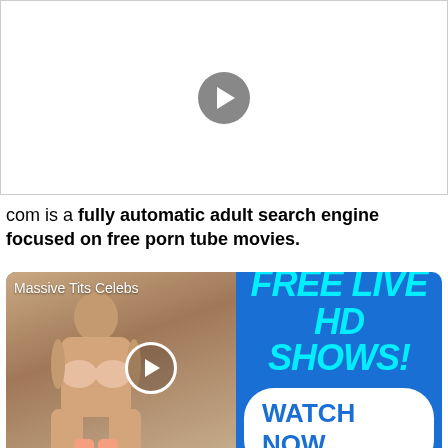[Figure (other): Video player placeholder with grey play button on white background]
com is a fully automatic adult search engine focused on free porn tube movies.
[Figure (other): Advertisement banner with blue background showing 'FREE LIVE HD SHOWS! WATCH NOW' with photo on left side labeled 'Massive Tits Celebs']